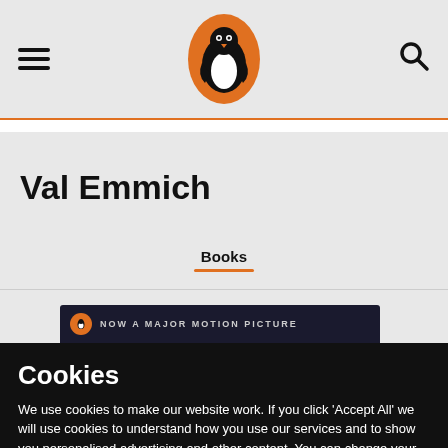[Figure (logo): Penguin Books logo — orange oval with black penguin outline in center, navigation bar with hamburger menu on left and search icon on right]
Val Emmich
Books
[Figure (screenshot): Partial view of a book card with dark navy background, orange circular penguin badge, and text 'NOW A MAJOR MOTION PICTURE' in grey uppercase letters]
Cookies
We use cookies to make our website work. If you click 'Accept All' we will use cookies to understand how you use our services and to show you personalised advertising and other content. You can change your cookie settings by clicking 'Manage Cookies'. For more information please see our cookie policy